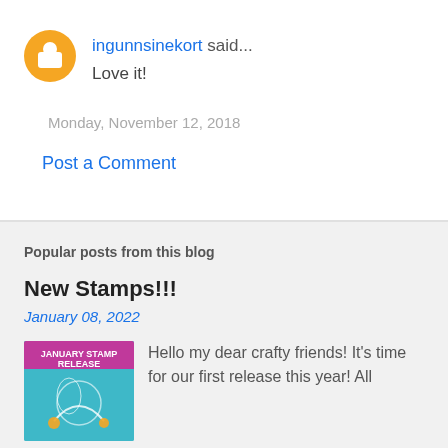ingunnsinekort said… Love it!
Monday, November 12, 2018
Post a Comment
Popular posts from this blog
New Stamps!!!
January 08, 2022
Hello my dear crafty friends!  It's time for our first release this year! All
[Figure (photo): Thumbnail image for New Stamps!!! blog post showing January Stamp Release artwork]